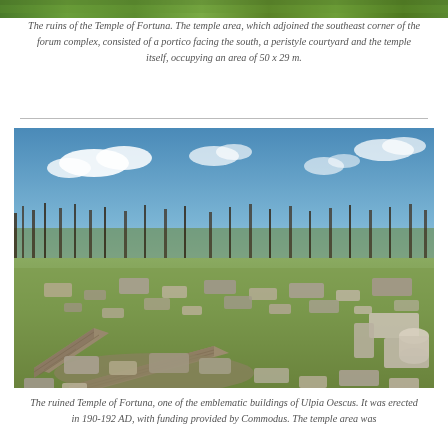[Figure (photo): Top strip image showing green vegetation/grass, partial view of archaeological site from above]
The ruins of the Temple of Fortuna. The temple area, which adjoined the southeast corner of the forum complex, consisted of a portico facing the south, a peristyle courtyard and the temple itself, occupying an area of 50 x 29 m.
[Figure (photo): Photograph of the ruined Temple of Fortuna at Ulpia Oescus. Shows scattered stone blocks, partial brick walls on green grass with bare winter trees and blue sky with clouds in the background.]
The ruined Temple of Fortuna, one of the emblematic buildings of Ulpia Oescus. It was erected in 190-192 AD, with funding provided by Commodus. The temple area was